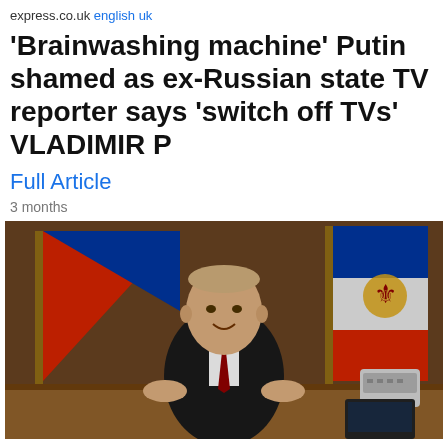express.co.uk  english uk
'Brainwashing machine' Putin shamed as ex-Russian state TV reporter says 'switch off TVs' VLADIMIR P
Full Article
3 months
[Figure (photo): Vladimir Putin sitting at a desk in a dark suit and red tie, smiling, with Russian flags behind him and a phone on the desk to the right. Appears to be an official televised address.]